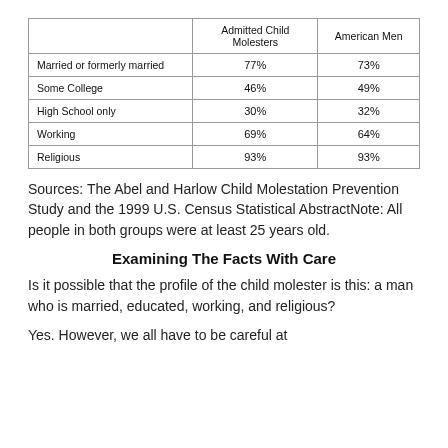|  | Admitted Child Molesters | American Men |
| --- | --- | --- |
| Married or formerly married | 77% | 73% |
| Some College | 46% | 49% |
| High School only | 30% | 32% |
| Working | 69% | 64% |
| Religious | 93% | 93% |
Sources: The Abel and Harlow Child Molestation Prevention Study and the 1999 U.S. Census Statistical AbstractNote: All people in both groups were at least 25 years old.
Examining The Facts With Care
Is it possible that the profile of the child molester is this: a man who is married, educated, working, and religious?
Yes. However, we all have to be careful at